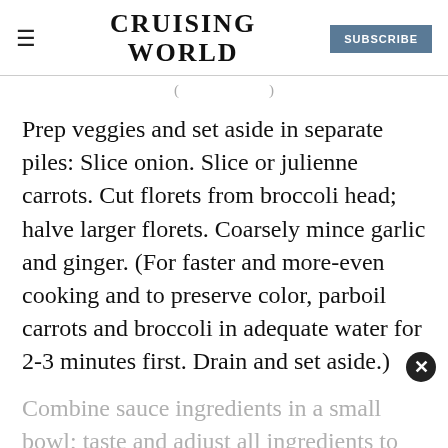CRUISING WORLD | SUBSCRIBE
( ... )
Prep veggies and set aside in separate piles: Slice onion. Slice or julienne carrots. Cut florets from broccoli head; halve larger florets. Coarsely mince garlic and ginger. (For faster and more-even cooking and to preserve color, parboil carrots and broccoli in adequate water for 2-3 minutes first. Drain and set aside.)
Combine sauce ingredients in a small bowl; taste and adjust all ingredients to your liking. (The sauce will thicken a bit